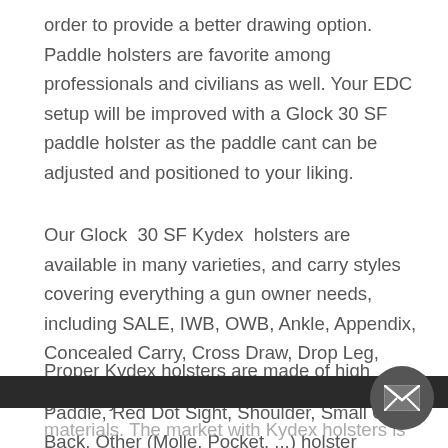order to provide a better drawing option. Paddle holsters are favorite among professionals and civilians as well. Your EDC setup will be improved with a Glock 30 SF paddle holster as the paddle cant can be adjusted and positioned to your liking.
Our Glock  30 SF Kydex  holsters are available in many varieties, and carry styles covering everything a gun owner needs, including SALE, IWB, OWB, Ankle, Appendix, Concealed Carry, Cross Draw, Drop Leg, Duty, Light & Laser Bearing, Magazine, Paddle, Red Dot Sight, Shoulder, Small Of Back, Other (Molle, Pocket, ...) holster designs.
Proper Kydex holsters are made of high grade Kydex materials. The market with Kydex holsters is wide and material itself has proven itself in the years. Glock 30 SF